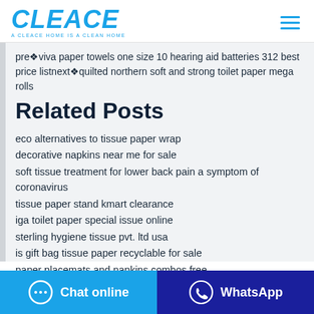CLEACE — A CLEACE HOME IS A CLEAN HOME
pre viva paper towels one size 10 hearing aid batteries 312 best price listnext quilted northern soft and strong toilet paper mega rolls
Related Posts
eco alternatives to tissue paper wrap
decorative napkins near me for sale
soft tissue treatment for lower back pain a symptom of coronavirus
tissue paper stand kmart clearance
iga toilet paper special issue online
sterling hygiene tissue pvt. ltd usa
is gift bag tissue paper recyclable for sale
paper placemats and napkins combos free
Chat online | WhatsApp